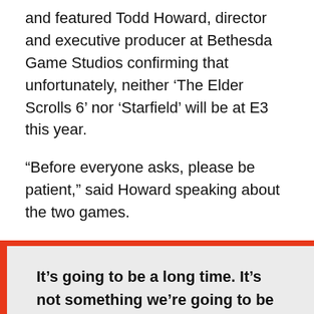and featured Todd Howard, director and executive producer at Bethesda Game Studios confirming that unfortunately, neither 'The Elder Scrolls 6' nor 'Starfield' will be at E3 this year.
“Before everyone asks, please be patient,” said Howard speaking about the two games.
It’s going to be a long time. It’s not something we’re going to be talking about at E3, either of those games, this year. And so patience, please, but you know, given the anniversary, we did want to give everybody a